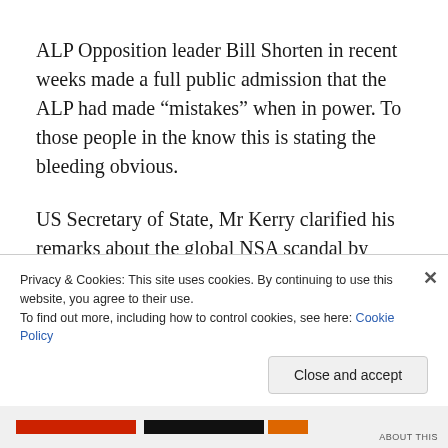ALP Opposition leader Bill Shorten in recent weeks made a full public admission that the ALP had made “mistakes” when in power. To those people in the know this is stating the bleeding obvious.
US Secretary of State, Mr Kerry clarified his remarks about the global NSA scandal by stating; “In some cases, I acknowledge to you, as has the president (Obama), that some of these actions (global spying on innocent people) have reached too far, and we are going to make sure that
Privacy & Cookies: This site uses cookies. By continuing to use this website, you agree to their use.
To find out more, including how to control cookies, see here: Cookie Policy
Close and accept